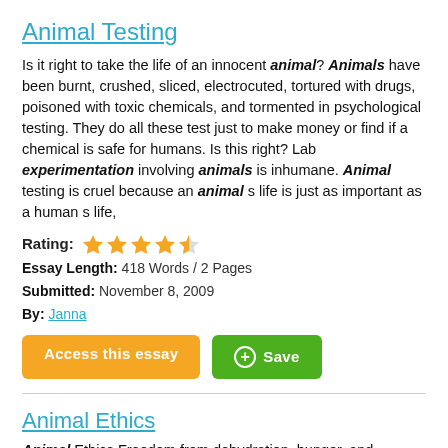Animal Testing
Is it right to take the life of an innocent animal? Animals have been burnt, crushed, sliced, electrocuted, tortured with drugs, poisoned with toxic chemicals, and tormented in psychological testing. They do all these test just to make money or find if a chemical is safe for humans. Is this right? Lab experimentation involving animals is inhumane. Animal testing is cruel because an animal s life is just as important as a human s life,
Rating: 4.5 stars
Essay Length: 418 Words / 2 Pages
Submitted: November 8, 2009
By: Janna
Access this essay | Save
Animal Ethics
Animal Ethics Freedom from dehydration, hunger, and malnutrition is ethical. The right to be free of discomfort